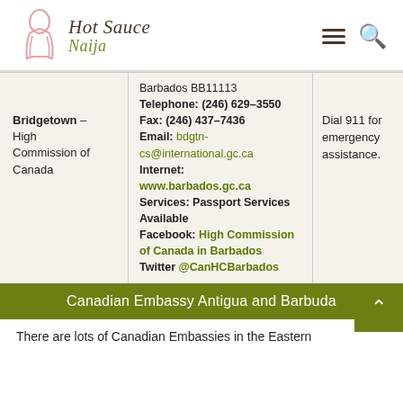Hot Sauce Naija
| Location | Contact Info | Emergency |
| --- | --- | --- |
| Bridgetown – High Commission of Canada | Barbados BB11113
Telephone: (246) 629-3550
Fax: (246) 437-7436
Email: bdgtn-cs@international.gc.ca
Internet: www.barbados.gc.ca
Services: Passport Services Available
Facebook: High Commission of Canada in Barbados
Twitter @CanHCBarbados | Dial 911 for emergency assistance. |
Canadian Embassy Antigua and Barbuda
There are lots of Canadian Embassies in the Eastern